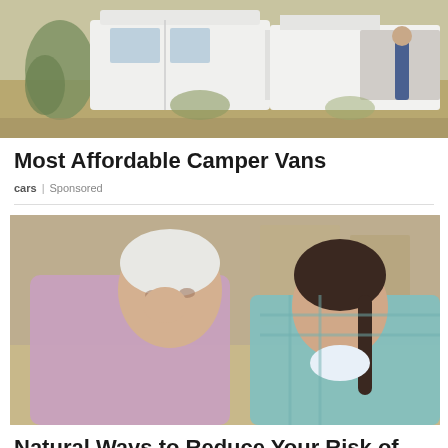[Figure (photo): Top portion of a camper van / pickup truck with outdoor desert scenery and a person standing nearby]
Most Affordable Camper Vans
cars | Sponsored
[Figure (photo): An elderly woman wiping tears from her eye while a young girl with dark braided hair sits beside her on a sofa, looking concerned]
Natural Ways to Reduce Your Risk of Suffering from S...